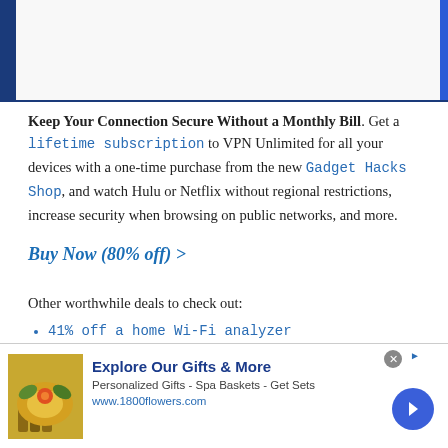[Figure (other): Top decorative header bar with dark blue left border and blue right accent]
Keep Your Connection Secure Without a Monthly Bill. Get a lifetime subscription to VPN Unlimited for all your devices with a one-time purchase from the new Gadget Hacks Shop, and watch Hulu or Netflix without regional restrictions, increase security when browsing on public networks, and more.
Buy Now (80% off) >
Other worthwhile deals to check out:
41% off a home Wi-Fi analyzer
98% off a learn to code bundle
98% off an accounting bootcamp
[Figure (other): Advertisement banner: Explore Our Gifts & More - 1800flowers.com with product image and navigation arrow]